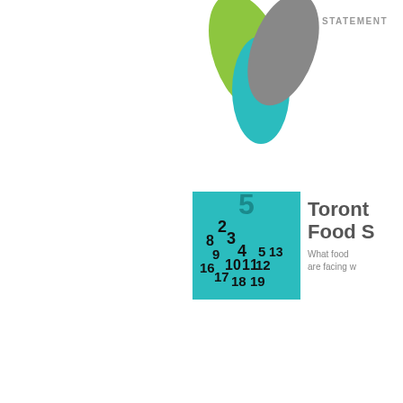[Figure (logo): Organization logo with green, teal and grey abstract leaf/drop shapes]
STATEMENT
[Figure (photo): Teal calendar thumbnail]
Toronto Food S...
What food are facing w...
[Figure (photo): Teal calendar thumbnail]
Sackville system...
To register Mount Allis...
[Figure (photo): Teal calendar thumbnail]
Online...